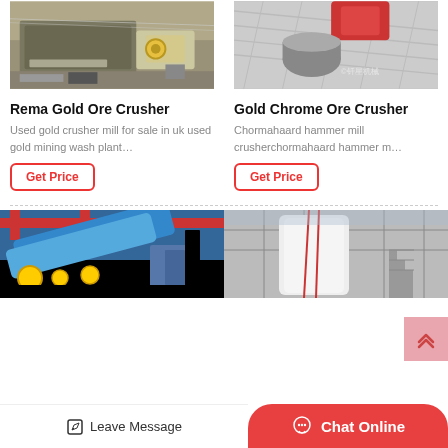[Figure (photo): Rema Gold Ore Crusher machine photo - industrial crusher equipment outdoors]
Rema Gold Ore Crusher
Used gold crusher mill for sale in uk used gold mining wash plant…
Get Price
[Figure (photo): Gold Chrome Ore Crusher machine photo - industrial crusher with red component and metal structure]
Gold Chrome Ore Crusher
Chormahaard hammer mill crusherchormahaard hammer m…
Get Price
[Figure (photo): Blue industrial conveyor or washing machine equipment inside factory with red crane]
[Figure (photo): Large white vertical mill or grinder machine inside industrial building]
Leave Message
Chat Online